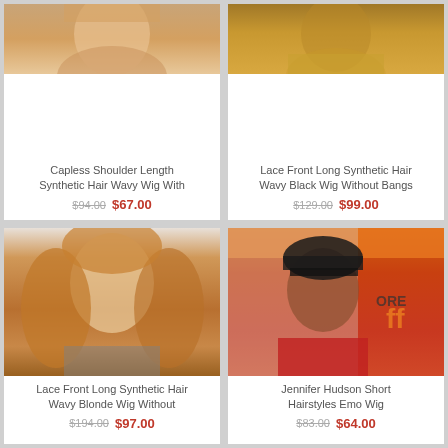[Figure (photo): Cropped photo of model with shoulder-length wavy hair, top portion visible]
Capless Shoulder Length Synthetic Hair Wavy Wig With
$94.00  $67.00
[Figure (photo): Cropped photo of model with long black wavy hair and gold/sparkly outfit]
Lace Front Long Synthetic Hair Wavy Black Wig Without Bangs
$129.00  $99.00
[Figure (photo): Photo of red-haired model with long wavy blonde/auburn hair]
Lace Front Long Synthetic Hair Wavy Blonde Wig Without
$194.00  $97.00
[Figure (photo): Photo of Jennifer Hudson with short dark hair emo style, red dress, orange TIFF background]
Jennifer Hudson Short Hairstyles Emo Wig
$83.00  $64.00